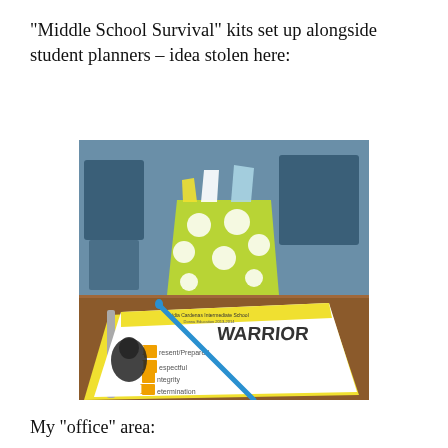“Middle School Survival” kits set up alongside student planners – idea stolen here:
[Figure (photo): A classroom desk with a yellow-green polka dot container holding supplies (pencils, tissues, etc.) placed next to a student planner/agenda. The planner cover reads 'WARRIOR' with an acrostic: P - Present/Prepared, R - Respectful, I - Integrity, O - Determination, R - Etiquette, with a Native American warrior mascot image. A blue pen is resting across the planner.]
My “office” area: